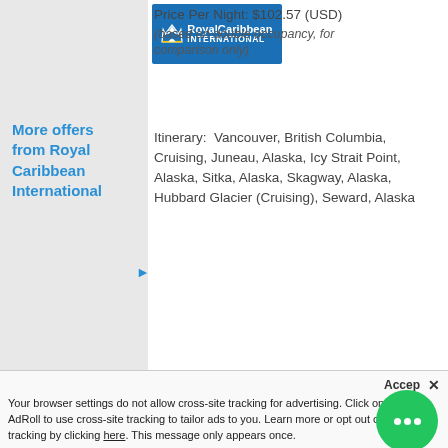[Figure (logo): Royal Caribbean International logo — blue background with crown and anchor icon, yellow bar at bottom with INTERNATIONAL text]
Price Per Night: $102.57 (USD) (based on double occupancy, for comparison only)
More offers from Royal Caribbean International
Itinerary: Vancouver, British Columbia, Cruising, Juneau, Alaska, Icy Strait Point, Alaska, Sitka, Alaska, Skagway, Alaska, Hubbard Glacier (Cruising), Seward, Alaska
Other Categories Starting At:
| Inside | Outside | Balcony | Suite |
| --- | --- | --- | --- |
| $718.00 | $718.00 | $1,538. | $2,328.00 |
| Cat: ZI | Cat: YO | Cat: XB | Cat: WS |
Your browser settings do not allow cross-site tracking for advertising. Click on the Allow AdRoll to use cross-site tracking to tailor ads to you. Learn more or opt out of this AdRoll tracking by clicking here. This message only appears once.